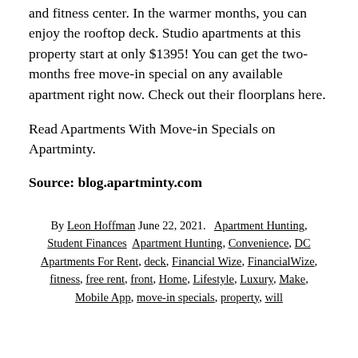and fitness center. In the warmer months, you can enjoy the rooftop deck. Studio apartments at this property start at only $1395! You can get the two-months free move-in special on any available apartment right now. Check out their floorplans here.
Read Apartments With Move-in Specials on Apartminty.
Source: blog.apartminty.com
By Leon Hoffman June 22, 2021. Apartment Hunting, Student Finances Apartment Hunting, Convenience, DC Apartments For Rent, deck, Financial Wize, FinancialWize, fitness, free rent, front, Home, Lifestyle, Luxury, Make, Mobile App, move-in specials, property, will